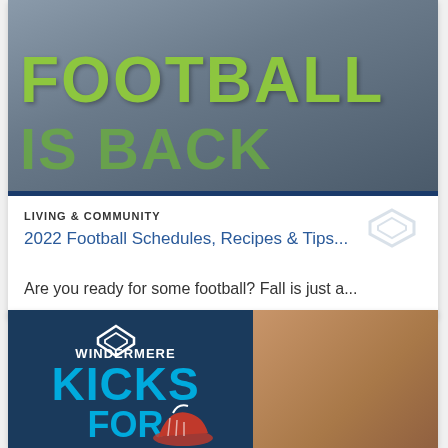[Figure (photo): Football promotional image with green text 'FOOTBALL IS BACK' overlaid on a photo of people celebrating, with a blue bottom border bar]
LIVING & COMMUNITY
2022 Football Schedules, Recipes & Tips...
Are you ready for some football? Fall is just a...
[Figure (photo): Windermere Kicks For promotional image with dark blue overlay on stone/paver background, showing Windermere logo, teal 'KICKS FOR' text, and a red shoe at the bottom]